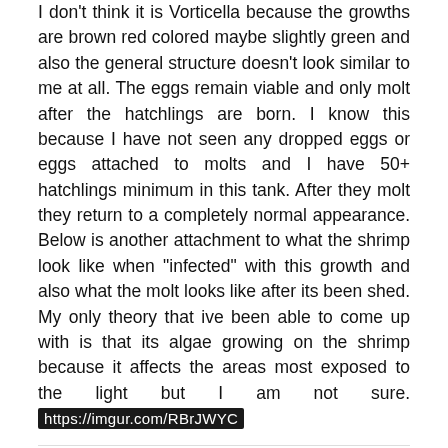I don't think it is Vorticella because the growths are brown red colored maybe slightly green and also the general structure doesn't look similar to me at all. The eggs remain viable and only molt after the hatchlings are born. I know this because I have not seen any dropped eggs or eggs attached to molts and I have 50+ hatchlings minimum in this tank. After they molt they return to a completely normal appearance. Below is another attachment to what the shrimp look like when "infected" with this growth and also what the molt looks like after its been shed. My only theory that ive been able to come up with is that its algae growing on the shrimp because it affects the areas most exposed to the light but I am not sure. https://imgur.com/RBrJWYC
sdITBfanUK
Posted June 7
Maybe it is fungus, I had a look at that on the thread I just